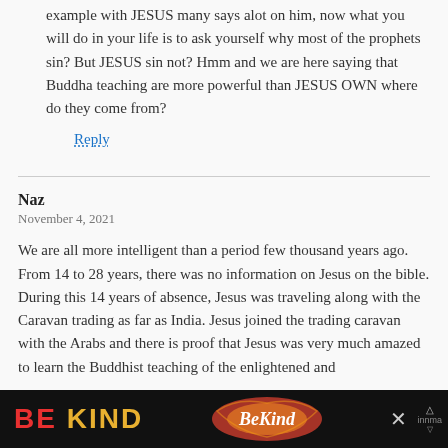example with JESUS many says alot on him, now what you will do in your life is to ask yourself why most of the prophets sin? But JESUS sin not? Hmm and we are here saying that Buddha teaching are more powerful than JESUS OWN where do they come from?
Reply
Naz
November 4, 2021
We are all more intelligent than a period few thousand years ago. From 14 to 28 years, there was no information on Jesus on the bible. During this 14 years of absence, Jesus was traveling along with the Caravan trading as far as India. Jesus joined the trading caravan with the Arabs and there is proof that Jesus was very much amazed to learn the Buddhist teaching of the enlightened and
[Figure (infographic): Advertisement banner with black background showing 'BE KIND' text in large red and yellow letters with a decorative logo/graphic on the right side and close buttons.]